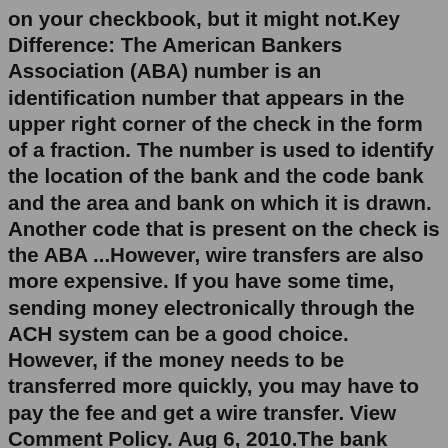on your checkbook, but it might not.Key Difference: The American Bankers Association (ABA) number is an identification number that appears in the upper right corner of the check in the form of a fraction. The number is used to identify the location of the bank and the code bank and the area and bank on which it is drawn. Another code that is present on the check is the ABA ...However, wire transfers are also more expensive. If you have some time, sending money electronically through the ACH system can be a good choice. However, if the money needs to be transferred more quickly, you may have to pay the fee and get a wire transfer. View Comment Policy. Aug 6, 2010.The bank institution is located to the right of your account number on your statement. If you haven't received a statement yet or can't find your routing number, give us a call at 1-888-810-4013. Capital One Bank (USA), N.A.: 051405515. Capital One, N.A.: 056073502.Banks keep transaction records that make it easy to track their progress. Wire transfers, individual amounts, while ACH...